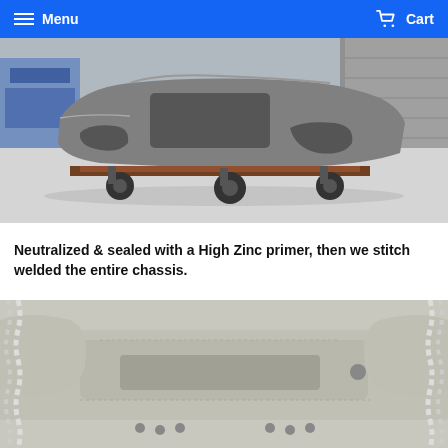Menu  Cart
[Figure (photo): Stripped bare metal car chassis/body shell on a rolling dolly in a garage workshop]
Neutralized & sealed with a High Zinc primer, then we stitch welded the entire chassis.
[Figure (photo): Interior of car chassis after being sealed with white/grey high zinc primer, showing trunk/wheel arch area with chains visible on sides]